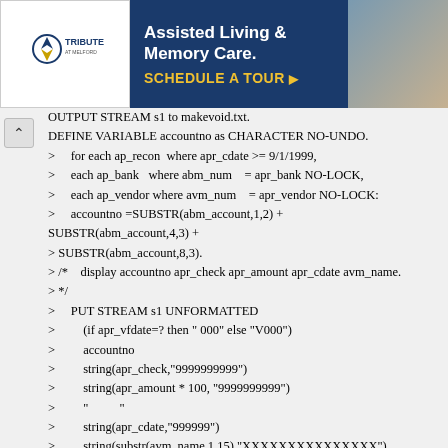[Figure (screenshot): Advertisement banner for Tribute at Melford Assisted Living & Memory Care with a Schedule a Tour button]
OUTPUT STREAM s1 to makevoid.txt.
DEFINE VARIABLE accountno as CHARACTER NO-UNDO.
>     for each ap_recon  where apr_cdate >= 9/1/1999,
>     each ap_bank   where abm_num    = apr_bank NO-LOCK,
>     each ap_vendor where avm_num    = apr_vendor NO-LOCK:
>     accountno =SUBSTR(abm_account,1,2) +
SUBSTR(abm_account,4,3) +
> SUBSTR(abm_account,8,3).
> /*    display accountno apr_check apr_amount apr_cdate avm_name.
> */
>     PUT STREAM s1 UNFORMATTED
>         (if apr_vfdate=? then " 000" else "V000")
>         accountno
>         string(apr_check,"9999999999")
>         string(apr_amount * 100, "9999999999")
>         "          "
>         string(apr_cdate,"999999")
>         string(substr(avm_name,1,15),"XXXXXXXXXXXXXXX")
>         "               "
>         CHR(13) CHR(10).
> end.
> OUTPUT STREAM s1 CLOSE.